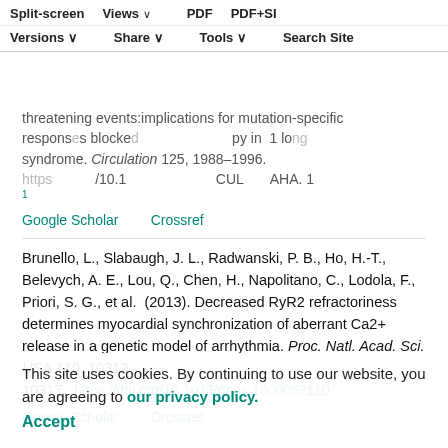Split-screen | Views | PDF | PDF+SI | Versions | Share | Tools | Search Site
threatening events:implications for mutation-specific responses blocked by β-blocke py in 1 long QT syndrome. Circulation 125, 1988–1996. https://doi.org/10.1161/CIRCULATIONAHA.1
Google Scholar   Crossref
Brunello, L., Slabaugh, J. L., Radwanski, P. B., Ho, H.-T., Belevych, A. E., Lou, Q., Chen, H., Napolitano, C., Lodola, F., Priori, S. G., et al. (2013). Decreased RyR2 refractoriness determines myocardial synchronization of aberrant Ca2+ release in a genetic model of arrhythmia. Proc. Natl. Acad. Sci. USA 110, 10312–10317.  https://doi.org/10.1073/pnas.1300052110
Google Scholar   Crossref
Di Pasquale, E., Lodola, F., Mirandoli, M., Denegri, M., Avalino Cruz, J. E., Buonocore, M., Nakahara, H., Bortacaro, P., Bloise, R., Napolitano, C., et al. (2013). CaMKII inhibition rectifies arrhythmic phenotype in a
This site uses cookies. By continuing to use our website, you are agreeing to our privacy policy. Accept